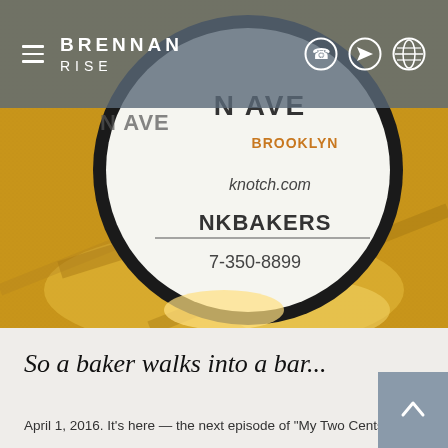BRENNAN RISE
[Figure (photo): Close-up photo of a circular tin lid or container from Butter & Scotch bakery, showing text: N AVE, BROOKLYN, knotch.com, NKBAKERS, 7-350-8899. The lid is sitting on a golden/yellow surface that appears to be a pastry or bread dough.]
So a baker walks into a bar...
April 1, 2016. It's here — the next episode of "My Two Cents" with Butter & Scotch, founded by two drunken bakers...